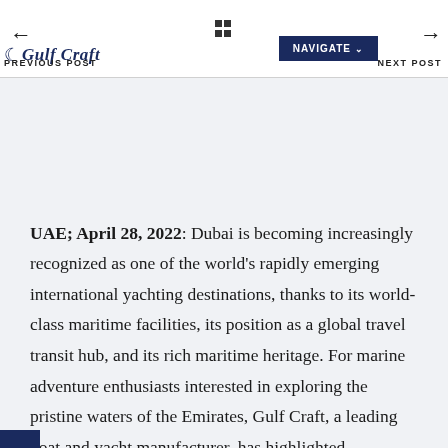← Gulf Craft logo | grid icon | NAVIGATE ∨ | PREVIOUS POST | → NEXT POST
UAE; April 28, 2022: Dubai is becoming increasingly recognized as one of the world's rapidly emerging international yachting destinations, thanks to its world-class maritime facilities, its position as a global travel transit hub, and its rich maritime heritage. For marine adventure enthusiasts interested in exploring the pristine waters of the Emirates, Gulf Craft, a leading boat and yacht manufacturer, has highlighted